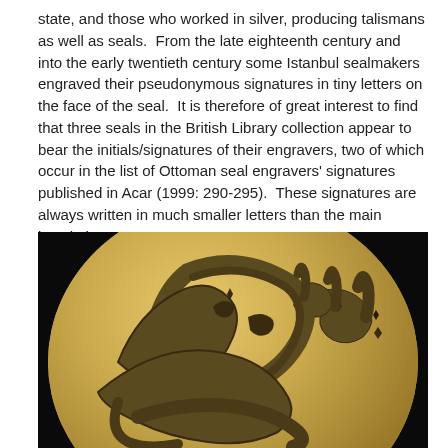state, and those who worked in silver, producing talismans as well as seals.  From the late eighteenth century and into the early twentieth century some Istanbul sealmakers engraved their pseudonymous signatures in tiny letters on the face of the seal.  It is therefore of great interest to find that three seals in the British Library collection appear to bear the initials/signatures of their engravers, two of which occur in the list of Ottoman seal engravers' signatures published in Acar (1999: 290-295).  These signatures are always written in much smaller letters than the main inscription.
[Figure (photo): Close-up photograph of a circular golden/brass Ottoman seal with Arabic/Ottoman calligraphic script engraved in relief, against a black background. The seal shows elegant cursive lettering typical of Ottoman seal engraving.]